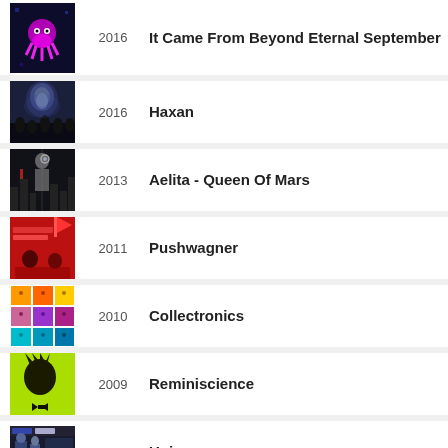2016 It Came From Beyond Eternal September
2016 Haxan
2013 Aelita - Queen Of Mars
2011 Pushwagner
2010 Collectronics
2009 Reminiscience
2008 Unicorn